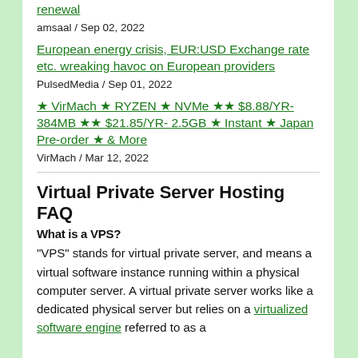renewal
amsaal / Sep 02, 2022
European energy crisis, EUR:USD Exchange rate etc. wreaking havoc on European providers
PulsedMedia / Sep 01, 2022
★ VirMach ★ RYZEN ★ NVMe ★★ $8.88/YR- 384MB ★★ $21.85/YR- 2.5GB ★ Instant ★ Japan Pre-order ★ & More
VirMach / Mar 12, 2022
Virtual Private Server Hosting FAQ
What is a VPS?
"VPS" stands for virtual private server, and means a virtual software instance running within a physical computer server. A virtual private server works like a dedicated physical server but relies on a virtualized software engine referred to as a